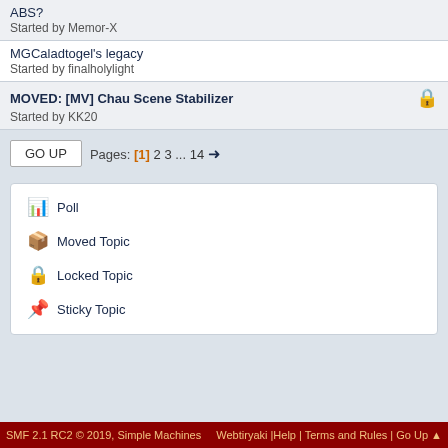ABS?
Started by Memor-X
MGCaladtogel's legacy
Started by finalholylight
MOVED: [MV] Chau Scene Stabilizer
Started by KK20
GO UP  Pages: [1] 2 3 ... 14 →
Poll
Moved Topic
Locked Topic
Sticky Topic
SMF 2.1 RC2 © 2019, Simple Machines   Webtiryaki |Help | Terms and Rules | Go Up ▲